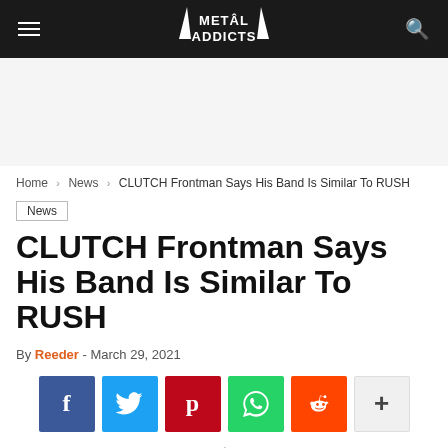METAL ADDICTS
Home › News › CLUTCH Frontman Says His Band Is Similar To RUSH
News
CLUTCH Frontman Says His Band Is Similar To RUSH
By Reeder - March 29, 2021
[Figure (other): Social share buttons: Facebook, Twitter, Pinterest, WhatsApp, Reddit, More]